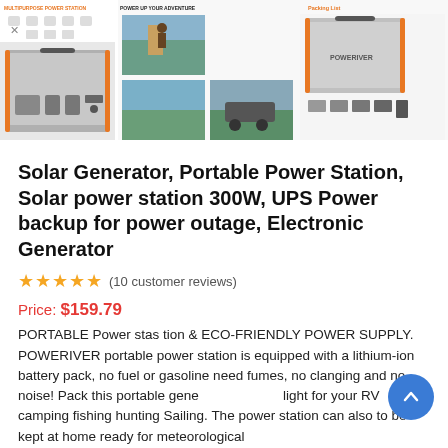[Figure (photo): Product listing images for a portable power station / solar generator. Shows product photos with feature icons, outdoor usage scenes, and a packing list view of the Poweriver device.]
Solar Generator, Portable Power Station, Solar power station 300W, UPS Power backup for power outage, Electronic Generator
(10 customer reviews)
Price: $159.79
PORTABLE Power stas tion & ECO-FRIENDLY POWER SUPPLY. POWERIVER portable power station is equipped with a lithium-ion battery pack, no fuel or gasoline need fumes, no clanging and no noise! Pack this portable generator light for your RV camping fishing hunting Sailing. The power station can also to be kept at home ready for meteorological